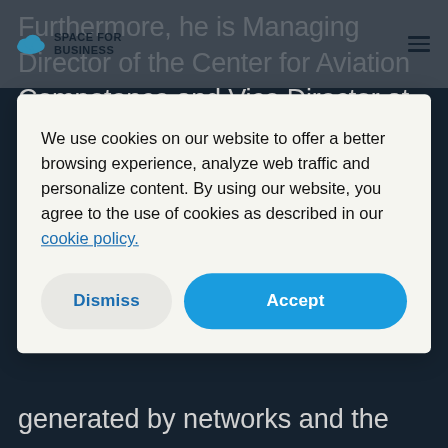SPACE FOR BUSINESS
Furthermore, he is Managing Director of the Center for Aviation Competence and Vice Director at the Institute for Systemic Management and Public Governance. In addition he holds guest teaching positions at
We use cookies on our website to offer a better browsing experience, analyze web traffic and personalize content. By using our website, you agree to the use of cookies as described in our cookie policy.
generated by networks and the